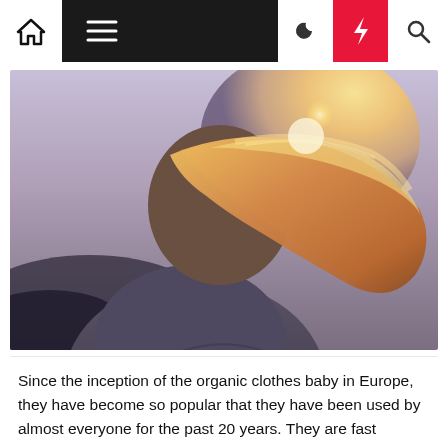Navigation bar with home, menu, moon, bolt, and search icons
[Figure (photo): Woman viewed from behind with long flowing blonde hair blowing in the wind, wearing a grey knit sweater, with bright sunlight in the background]
Since the inception of the organic clothes baby in Europe, they have become so popular that they have been used by almost everyone for the past 20 years. They are fast become something that is being used in every home across the United States, Canada, Australia, New Zealand and many […]